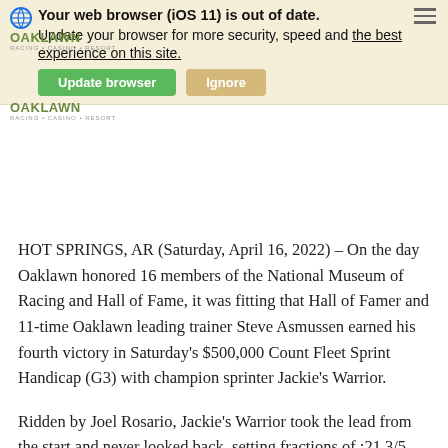Your web browser (iOS 11) is out of date. Update your browser for more security, speed and the best experience on this site. [Update browser] [Ignore]
[Figure (logo): Oaklawn Racing Casino Resort logo]
HOT SPRINGS, AR (Saturday, April 16, 2022) – On the day Oaklawn honored 16 members of the National Museum of Racing and Hall of Fame, it was fitting that Hall of Famer and 11-time Oaklawn leading trainer Steve Asmussen earned his fourth victory in Saturday's $500,000 Count Fleet Sprint Handicap (G3) with champion sprinter Jackie's Warrior.
Ridden by Joel Rosario, Jackie's Warrior took the lead from the start and never looked back, setting fractions of :21 3/5 and :44 2/5 for the first half mile, while under slight pressure from Empire of Gold. The